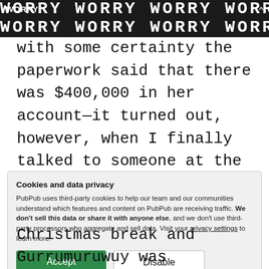WORRY
with some certainty the paperwork said that there was $400,000 in her account—it turned out, however, when I finally talked to someone at the superannuation fund on speaker phone with everyone listening, the final figure was little more than $8,000.
Cookies and data privacy
PubPub uses third-party cookies to help our team and our communities understand which features and content on PubPub are receiving traffic. We don't sell this data or share it with anyone else, and we don't use third-party processors who aggregate and sell data. Visit your privacy settings to learn more.
Accept  Disable
Christmas break and Gurrumuruwuy was